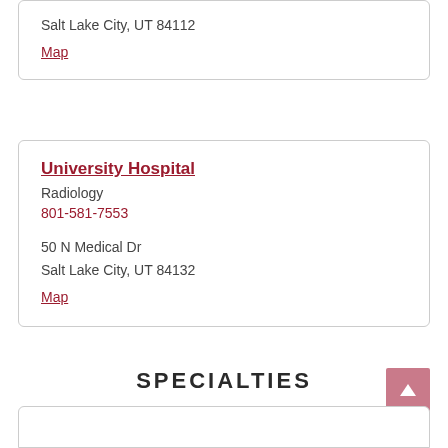Salt Lake City, UT  84112
Map
University Hospital
Radiology
801-581-7553
50 N Medical Dr
Salt Lake City, UT  84132
Map
SPECIALTIES